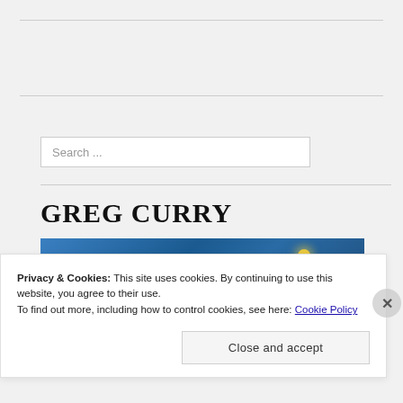Search ...
GREG CURRY
[Figure (illustration): Painting with blue background resembling a starry night scene, dark rounded hill shape at bottom center, yellow star/light in upper right area.]
Privacy & Cookies: This site uses cookies. By continuing to use this website, you agree to their use.
To find out more, including how to control cookies, see here: Cookie Policy
Close and accept